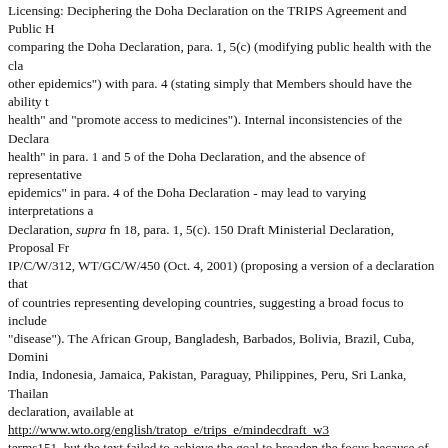Licensing: Deciphering the Doha Declaration on the TRIPS Agreement and Public H comparing the Doha Declaration, para. 1, 5(c) (modifying public health with the cla other epidemics") with para. 4 (stating simply that Members should have the ability health" and "promote access to medicines"). Internal inconsistencies of the Declara health" in para. 1 and 5 of the Doha Declaration, and the absence of representative epidemics" in para. 4 of the Doha Declaration - may lead to varying interpretations a Declaration, supra fn 18, para. 1, 5(c). 150 Draft Ministerial Declaration, Proposal Fr IP/C/W/312, WT/GC/W/450 (Oct. 4, 2001) (proposing a version of a declaration that of countries representing developing countries, suggesting a broad focus to include "disease"). The African Group, Bangladesh, Barbados, Bolivia, Brazil, Cuba, Domini India, Indonesia, Jamaica, Pakistan, Paraguay, Philippines, Peru, Sri Lanka, Thailan declaration, available at http://www.wto.org/english/tratop_e/trips_e/mindecdraft_w3 terms151, but the text failed to achieve the goal to broaden the focus because of int confronted with a dispute between two countries concerning the type of public health to, would have to interpret the term "public health" in the context of TRIPS.153 Acco at the words of the treaty154. If the textual analysis is ambiguous, secondary materi Panel must decide whether the Declaration is part of the treaty text or supplementar Doha Declaration is unclear157: It may be a subsequent agreement among the WT members' understanding of the TRIPS agreement and represents the beginning of s declaration of intent and commitment without enforceable legal obligation.158 Both, supplementary means for treaty interpretation.159 It has been argued that, given the Agreement by developed and developing countries, the Doha Declaration is "an inte the TRIPS Agreement".160 According to the WTO, WTO Panels may seek informati WTO Panel will likely consider the Doha Declaration primary material and essential ordinary meaning analysis under Art. 31 of the VCLT.161 Under the TRIPS Agreeme